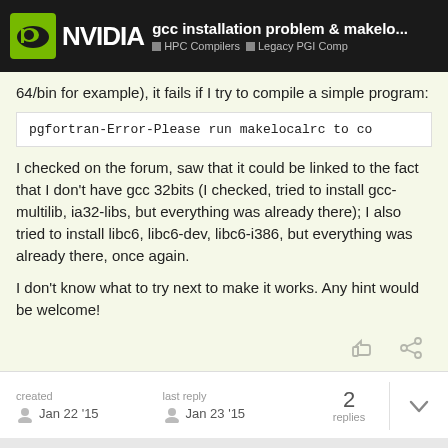gcc installation problem & makelo... | HPC Compilers | Legacy PGI Comp
64/bin for example), it fails if I try to compile a simple program:
I checked on the forum, saw that it could be linked to the fact that I don't have gcc 32bits (I checked, tried to install gcc-multilib, ia32-libs, but everything was already there); I also tried to install libc6, libc6-dev, libc6-i386, but everything was already there, once again.
I don't know what to try next to make it works. Any hint would be welcome!
created Jan 22 '15 | last reply Jan 23 '15 | 2 replies